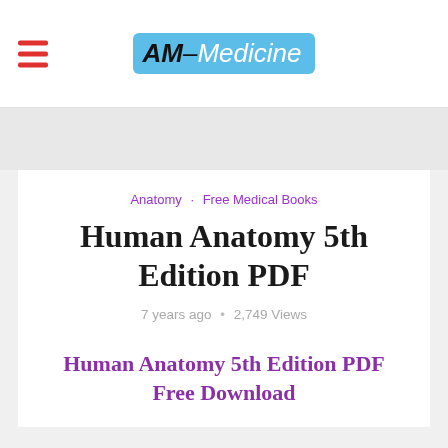AM-Medicine
Anatomy · Free Medical Books
Human Anatomy 5th Edition PDF
7 years ago · 2,749 Views
Human Anatomy 5th Edition PDF Free Download